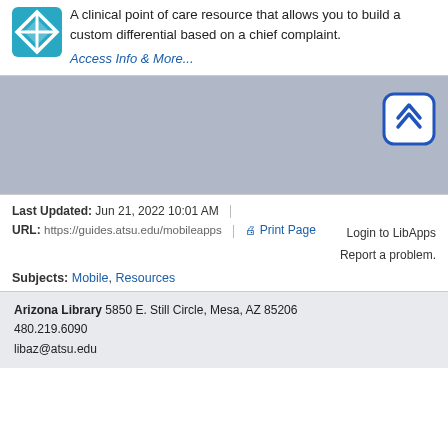[Figure (logo): VisualDX app logo — teal/blue geometric diamond shape icon]
A clinical point of care resource that allows you to build a custom differential based on a chief complaint.
Access Info & More...
[Figure (other): Back-to-top button — rounded square with double chevron up arrow in blue]
Last Updated: Jun 21, 2022 10:01 AM
URL: https://guides.atsu.edu/mobileapps
Print Page
Login to LibApps
Report a problem.
Subjects: Mobile, Resources
Arizona Library
5850 E. Still Circle, Mesa, AZ 85206
480.219.6090
libaz@atsu.edu